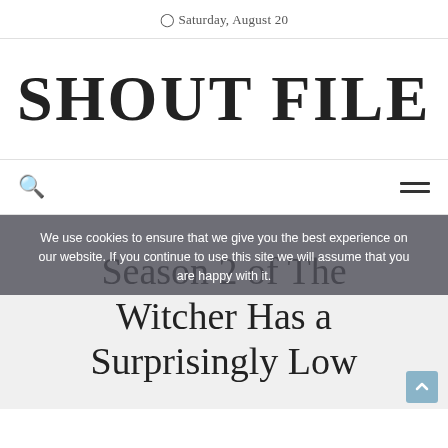Saturday, August 20
SHOUT FILE
Season 2 of The Witcher Has a Surprisingly Low